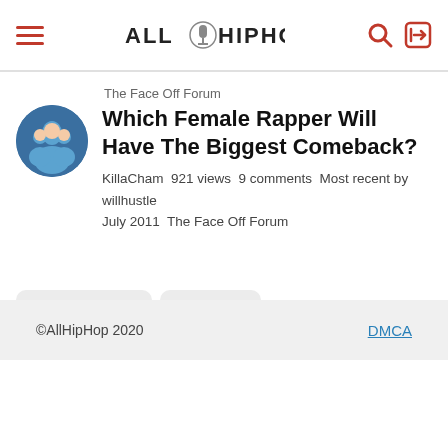ALLHIPHOP
The Face Off Forum
Which Female Rapper Will Have The Biggest Comeback?
KillaCham  921 views  9 comments  Most recent by willhustle  July 2011  The Face Off Forum
Previous
Next
©AllHipHop 2020   DMCA